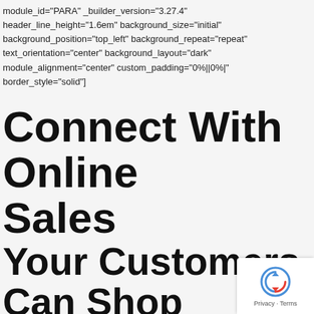module_id="PARA" _builder_version="3.27.4" header_line_height="1.6em" background_size="initial" background_position="top_left" background_repeat="repeat" text_orientation="center" background_layout="dark" module_alignment="center" custom_padding="0%||0%|" border_style="solid"]
Connect With Online Sales
Your Customers Can Shop Anytime